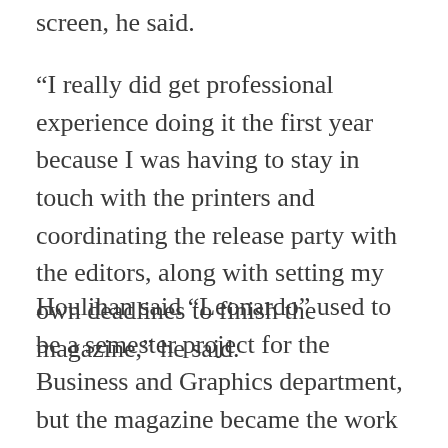screen, he said.
“I really did get professional experience doing it the first year because I was having to stay in touch with the printers and coordinating the release party with the editors, along with setting my own deadlines to finish the magazine,” he said.
Houlihan said “Leonardo” used to be a semester project for the Business and Graphics department, but the magazine became the work of volunteer students after the program was cut a couple of years ago.